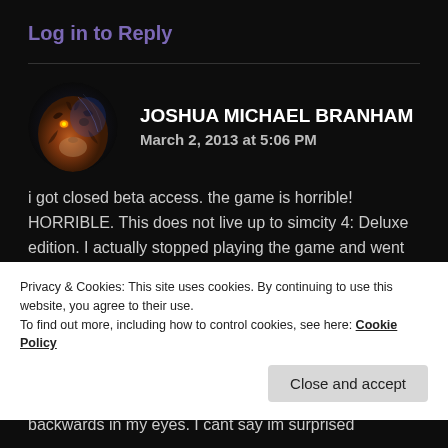Log in to Reply
[Figure (photo): Circular avatar image of a tiger with glowing orange eye and dark blue/purple background]
JOSHUA MICHAEL BRANHAM
March 2, 2013 at 5:06 PM
i got closed beta access. the game is horrible! HORRIBLE. This does not live up to simcity 4: Deluxe edition. I actually stopped playing the game and went back to playing sc4:de. Its obvious that they make an always online game so its harder to
Privacy & Cookies: This site uses cookies. By continuing to use this website, you agree to their use.
To find out more, including how to control cookies, see here: Cookie Policy
Close and accept
backwards in my eyes. I cant say im surprised